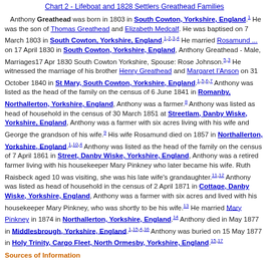Chart 2 - Lifeboat and 1828 Settlers Greathead Families
Anthony Greathead was born in 1803 in South Cowton, Yorkshire, England. He was the son of Thomas Greathead and Elizabeth Medcalf. He was baptised on 7 March 1803 in South Cowton, Yorkshire, England. He married Rosamund ... on 17 April 1830 in South Cowton, Yorkshire, England, Anthony Greathead - Male, Marriages17 Apr 1830 South Cowton Yorkshire, Spouse: Rose Johnson. He witnessed the marriage of his brother Henry Greathead and Margaret I'Anson on 31 October 1840 in St Mary, South Cowton, Yorkshire, England. Anthony was listed as the head of the family on the census of 6 June 1841 in Romanby, Northallerton, Yorkshire, England, Anthony was a farmer. Anthony was listed as head of household in the census of 30 March 1851 at Streetlam, Danby Wiske, Yorkshire, England, Anthony was a farmer with six acres living with his wife and George the grandson of his wife. His wife Rosamund died on 1857 in Northallerton, Yorkshire, England. Anthony was listed as the head of the family on the census of 7 April 1861 in Street, Danby Wiske, Yorkshire, England, Anthony was a retired farmer living with his housekeeper Mary Pinkney who later became his wife. Ruth Raisbeck aged 10 was visiting, she was his late wife's grandaughter. Anthony was listed as head of household in the census of 2 April 1871 in Cottage, Danby Wiske, Yorkshire, England, Anthony was a farmer with six acres and lived with his housekeeper Mary Pinkney, who was shortly to be his wife. He married Mary Pinkney in 1874 in Northallerton, Yorkshire, England. Anthony died in May 1877 in Middlesbrough, Yorkshire, England. Anthony was buried on 15 May 1877 in Holy Trinity, Cargo Fleet, North Ormesby, Yorkshire, England.
Sources of Information